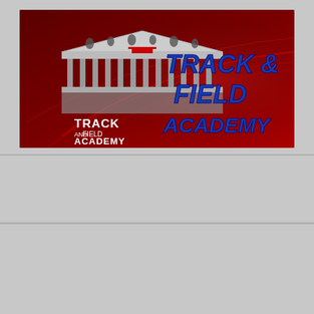[Figure (logo): Track and Field Academy banner logo with dark red background, building illustration on left, italic blue text 'TRACK & FIELD ACADEMY' on right]
[Figure (logo): Rankings & Polls Central banner with white background, runner figure and small logo on left, red and blue text on right]
[Figure (logo): The Bowerman award banner with black background and gold text]